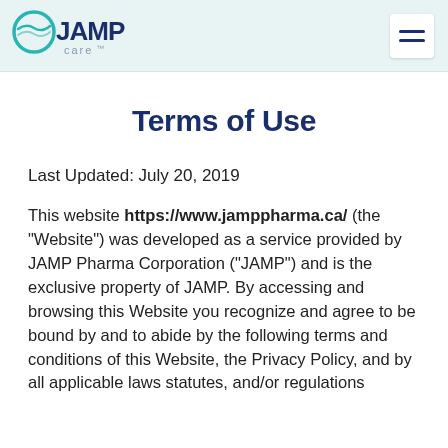JAMP care™ [logo] [hamburger menu]
Terms of Use
Last Updated: July 20, 2019
This website https://www.jamppharma.ca/ (the "Website") was developed as a service provided by JAMP Pharma Corporation ("JAMP") and is the exclusive property of JAMP. By accessing and browsing this Website you recognize and agree to be bound by and to abide by the following terms and conditions of this Website, the Privacy Policy, and by all applicable laws statutes, and/or regulations